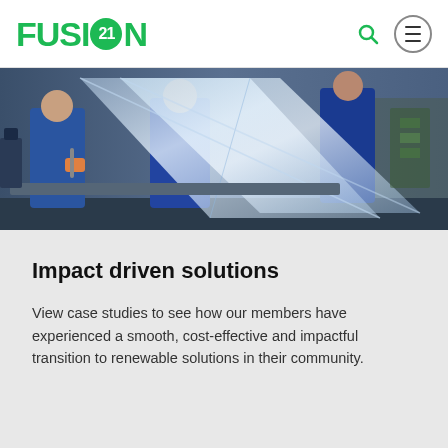FUSION 21
[Figure (photo): Workers in blue overalls handling large transparent glass or acrylic panels in an industrial/workshop setting]
Impact driven solutions
View case studies to see how our members have experienced a smooth, cost-effective and impactful transition to renewable solutions in their community.